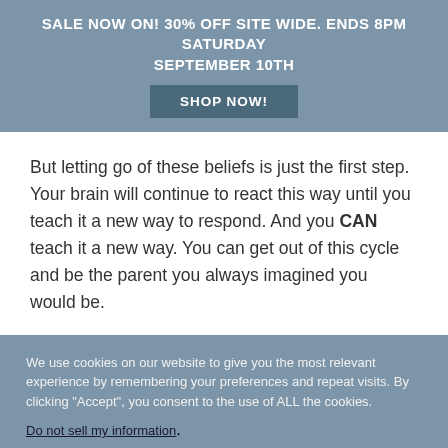SALE NOW ON! 30% OFF SITE WIDE. ENDS 8PM SATURDAY SEPTEMBER 10TH
But letting go of these beliefs is just the first step. Your brain will continue to react this way until you teach it a new way to respond. And you CAN teach it a new way. You can get out of this cycle and be the parent you always imagined you would be.
We use cookies on our website to give you the most relevant experience by remembering your preferences and repeat visits. By clicking "Accept", you consent to the use of ALL the cookies.
Do not sell my information